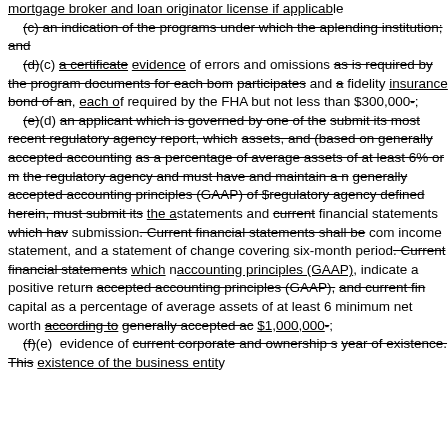mortgage broker and loan originator license if applicable; (c) an indication of the programs under which the applicant is approved as a lending institution; and (d)(c) a certificate evidence of errors and omissions as is required by the program documents for each borrower participates and a fidelity insurance bond of an, each of required by the FHA but not less than $300,000-; (e)(d) an applicant which is governed by one of the regulatory agencies must submit its most recent regulatory agency report, which must reflect total assets, and (based on generally accepted accounting principles) net capital as a percentage of average assets of at least 6% or more as required by the regulatory agency and must have and maintain a minimum net worth under generally accepted accounting principles (GAAP) of $1,000,000 as defined by the regulatory agency defined herein, must submit its the audited financial statements and current financial statements which have been prepared for submission. Current financial statements shall be comprised of a balance sheet, income statement, and a statement of change covering the most recent six-month period. Current financial statements which must be based on generally accepted accounting principles (GAAP), indicate a positive return on equity under generally accepted accounting principles (GAAP), and current financial capital as a percentage of average assets of at least 6 percent, and maintain a minimum net worth according to generally accepted accounting principles (GAAP) of $1,000,000-; (f)(e) evidence of current corporate and ownership structure and at least one year of existence. This existence of the business entity